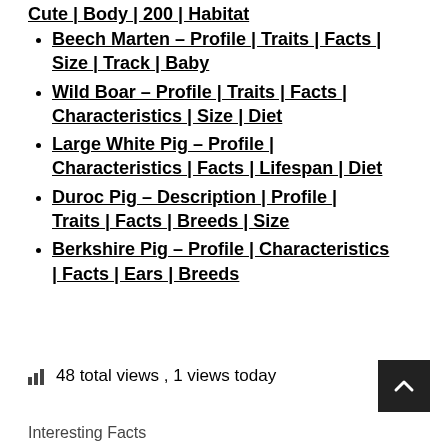Cute | Body | 200 | Habitat (partial, top of page)
Beech Marten – Profile | Traits | Facts | Size | Track | Baby
Wild Boar – Profile | Traits | Facts | Characteristics | Size | Diet
Large White Pig – Profile | Characteristics | Facts | Lifespan | Diet
Duroc Pig – Description | Profile | Traits | Facts | Breeds | Size
Berkshire Pig – Profile | Characteristics | Facts | Ears | Breeds
48 total views , 1 views today
Interesting Facts